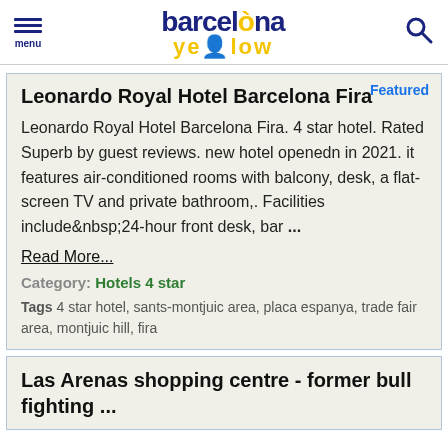barcelòna yellow — menu | search
Leonardo Royal Hotel Barcelona Fira
Leonardo Royal Hotel Barcelona Fira. 4 star hotel. Rated Superb by guest reviews. new hotel openedn in 2021. it features air-conditioned rooms with balcony, desk, a flat-screen TV and private bathroom,. Facilities include&nbsp;24-hour front desk, bar …
Read More...
Category: Hotels 4 star
Tags  4 star hotel, sants-montjuic area, placa espanya, trade fair area, montjuic hill, fira
Las Arenas shopping centre - former bull fighting ...